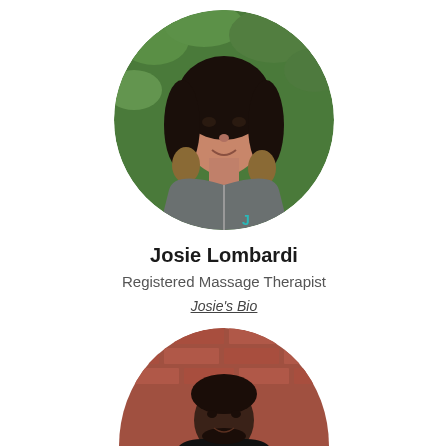[Figure (photo): Circular portrait photo of Josie Lombardi, a woman with long dark hair with blonde highlights, wearing a grey zip-up hoodie, standing in front of green foliage.]
Josie Lombardi
Registered Massage Therapist
Josie's Bio
[Figure (photo): Circular (top half visible) portrait photo of a man with short hair and a beard, wearing a dark shirt, standing in front of a brick wall.]